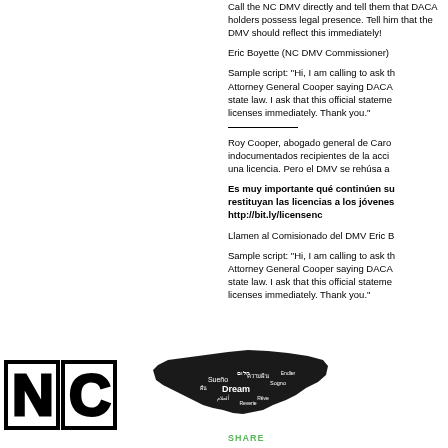Call the NC DMV directly and tell them that DACA holders possess legal presence. Tell him that the DMV should reflect this immediately!
Eric Boyette (NC DMV Commissioner)
Sample script: “Hi, I am calling to ask the Attorney General Cooper saying DACA state law. I ask that this official statement licenses immediately. Thank you.”
Roy Cooper, abogado general de Caro indocumentados recipientes de la acci una licencia. Pero el DMV se rehúsa a
Es muy importante qué continúen su restituyan las licencias a los jóvene http://bit.ly/licensenc
Llamen al Comisionado del DMV Eric B
Sample script: “Hi, I am calling to ask the Attorney General Cooper saying DACA state law. I ask that this official stateme licenses immediately. Thank you.”
[Figure (logo): NC logo with large block letters N and C in bold outlined style]
[Figure (map): Silhouette map of North Carolina filled with multilingual dream-related words including Sueño, Dream, etc.]
SHARE